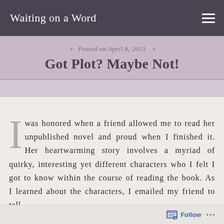Waiting on a Word
Posted on April 8, 2013
Got Plot? Maybe Not!
I was honored when a friend allowed me to read her unpublished novel and proud when I finished it. Her heartwarming story involves a myriad of quirky, interesting yet different characters who I felt I got to know within the course of reading the book. As I learned about the characters, I emailed my friend to tell